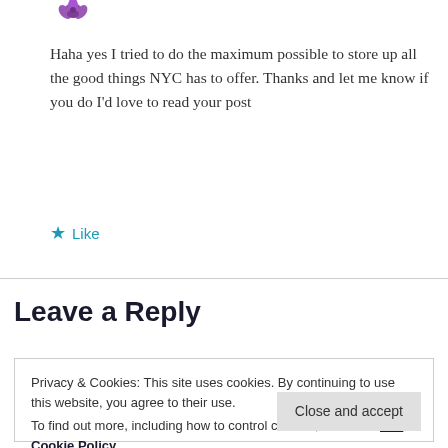[Figure (illustration): Purple lotus or abstract icon avatar at top left]
Haha yes I tried to do the maximum possible to store up all the good things NYC has to offer. Thanks and let me know if you do I'd love to read your post
★ Like
Leave a Reply
Privacy & Cookies: This site uses cookies. By continuing to use this website, you agree to their use.
To find out more, including how to control cookies, see here: Our Cookie Policy
Close and accept